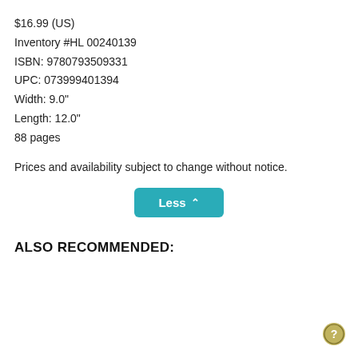$16.99 (US)
Inventory #HL 00240139
ISBN: 9780793509331
UPC: 073999401394
Width: 9.0"
Length: 12.0"
88 pages
Prices and availability subject to change without notice.
Less ^
ALSO RECOMMENDED: